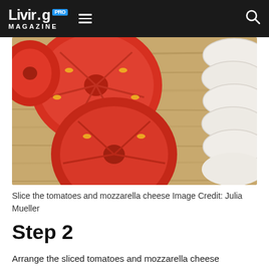Livir.g PRO MAGAZINE
[Figure (photo): Sliced tomatoes and mozzarella cheese on a wooden cutting board, showing cross-sections of red tomatoes and white mozzarella slices]
Slice the tomatoes and mozzarella cheese Image Credit: Julia Mueller
Step 2
Arrange the sliced tomatoes and mozzarella cheese on a serving dish.